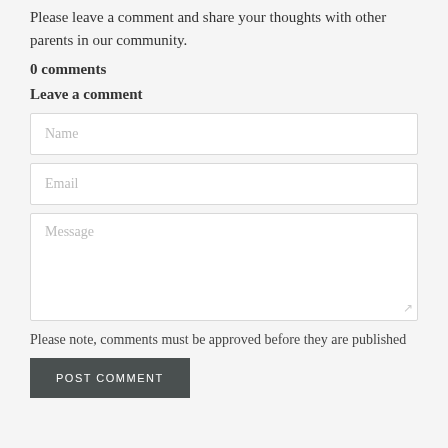Please leave a comment and share your thoughts with other parents in our community.
0 comments
Leave a comment
Name
Email
Message
Please note, comments must be approved before they are published
POST COMMENT